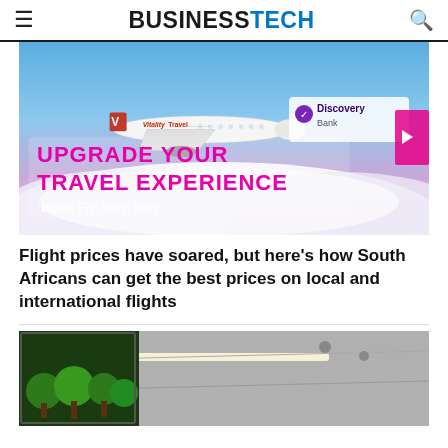BUSINESSTECH
[Figure (photo): Vitality Travel airline advertisement banner with a white airplane flying above clouds and pink/purple sky. Text reads: UPGRADE YOUR TRAVEL EXPERIENCE. Book. Fly. Stay. Play. Discovery Bank logo visible.]
Flight prices have soared, but here’s how South Africans can get the best prices on local and international flights
[Figure (photo): Interior image showing a ceiling with lighting panels and a green wall display showing trees/forest imagery.]